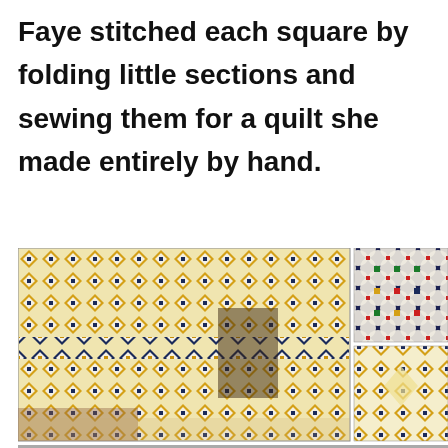Faye stitched each square by folding little sections and sewing them for a quilt she made entirely by hand.
[Figure (photo): Collage of four photos showing a handmade quilt with geometric diamond/star patterns in yellow, navy, red and green on cream background. Main large photo shows full quilt draped over furniture. Top-right shows closeup of cathedral windows pattern in navy, cream, green, red, yellow. Bottom-right shows quilt corner detail. Bottom strip shows partial view of quilt edge with red and green patches.]